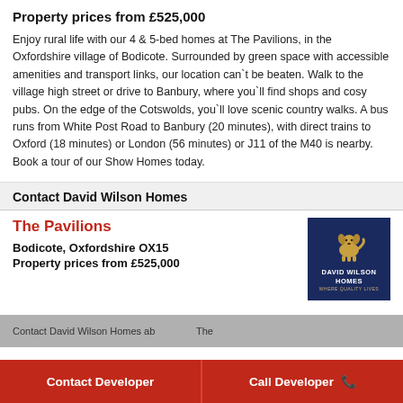Property prices from £525,000
Enjoy rural life with our 4 & 5-bed homes at The Pavilions, in the Oxfordshire village of Bodicote. Surrounded by green space with accessible amenities and transport links, our location can`t be beaten. Walk to the village high street or drive to Banbury, where you`ll find shops and cosy pubs. On the edge of the Cotswolds, you`ll love scenic country walks. A bus runs from White Post Road to Banbury (20 minutes), with direct trains to Oxford (18 minutes) or London (56 minutes) or J11 of the M40 is nearby. Book a tour of our Show Homes today.
Contact David Wilson Homes
The Pavilions
Bodicote, Oxfordshire OX15
Property prices from £525,000
[Figure (logo): David Wilson Homes logo — dark navy blue square with golden dog illustration and white text reading DAVID WILSON HOMES, WHERE QUALITY LIVES]
Contact Developer
Call Developer